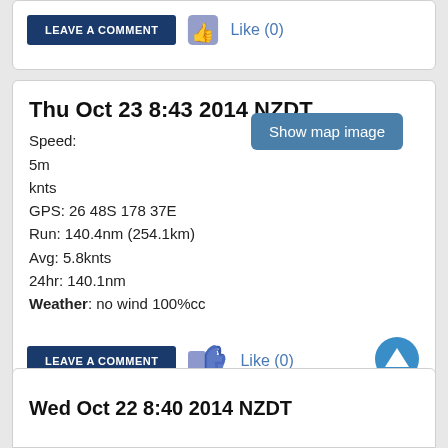[Figure (screenshot): Bottom of a previous blog/log entry card showing LEAVE A COMMENT button and Like (0) with thumbs up icon]
Thu Oct 23 8:43 2014 NZDT
Speed:
5m
knts
GPS: 26 48S 178 37E
Run: 140.4nm (254.1km)
Avg: 5.8knts
24hr: 140.1nm
Weather: no wind 100%cc

550 to north cape but who is counting!
[Figure (screenshot): LEAVE A COMMENT button with thumbs up icon and Like (0) text, plus a blue circle up-arrow button]
Wed Oct 22 8:40 2014 NZDT